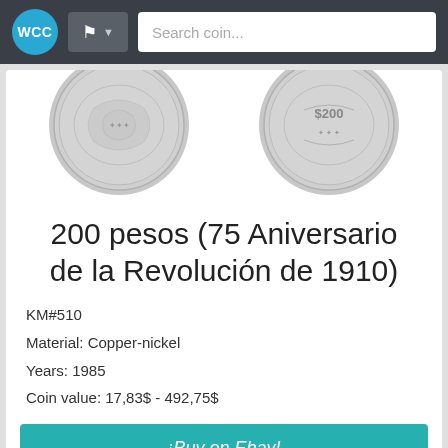WCC | Flag dropdown | Search coin...
[Figure (photo): Two Mexican 200 pesos coins showing obverse and reverse sides]
200 pesos (75 Aniversario de la Revolución de 1910)
KM#510
Material: Copper-nickel
Years: 1985
Coin value: 17,83$ - 492,75$
¡Buy on Ebay!
[Figure (photo): Partial view of another coin at the bottom of the page]